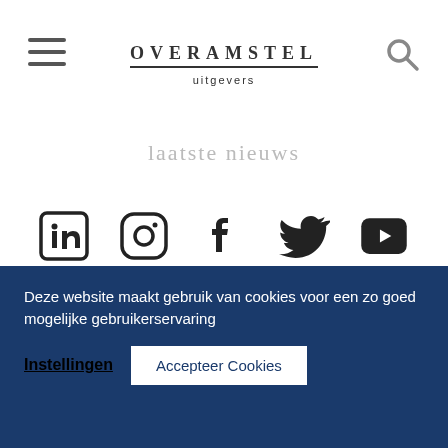[Figure (logo): Overamstel uitgevers logo with hamburger menu icon on left and search icon on right]
laatste nieuws
[Figure (infographic): Row of five social media icons: LinkedIn, Instagram, Facebook, Twitter, YouTube]
Deze website maakt gebruik van cookies voor een zo goed mogelijke gebruikerservaring
Instellingen   Accepteer Cookies